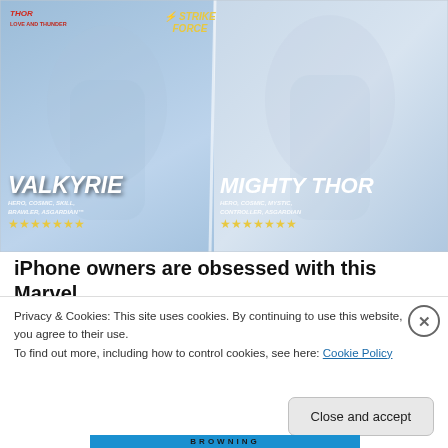[Figure (screenshot): Marvel Strike Force game promotional image showing two characters: Valkyrie (left) labeled as HERO, COSMIC, SKILL, BRAWLER, ASGARDIAN with gold stars, and Mighty Thor (right) labeled as HERO, COSMIC, MYSTIC, CONTROLLER, ASGARDIAN with gold stars. Thor and Strike Force logos visible at top.]
iPhone owners are obsessed with this Marvel
Privacy & Cookies: This site uses cookies. By continuing to use this website, you agree to their use.
To find out more, including how to control cookies, see here: Cookie Policy